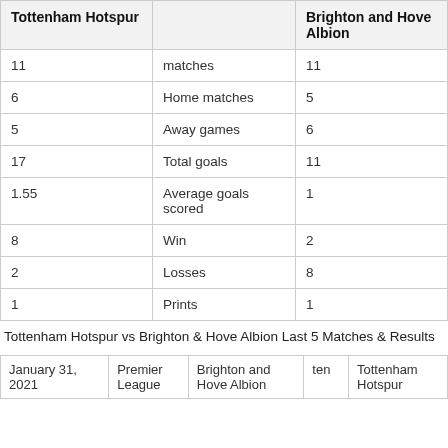| Tottenham Hotspur |  | Brighton and Hove Albion |
| --- | --- | --- |
| 11 | matches | 11 |
| 6 | Home matches | 5 |
| 5 | Away games | 6 |
| 17 | Total goals | 11 |
| 1.55 | Average goals scored | 1 |
| 8 | Win | 2 |
| 2 | Losses | 8 |
| 1 | Prints | 1 |
Tottenham Hotspur vs Brighton & Hove Albion Last 5 Matches & Results
|  |  |  |  |  |
| --- | --- | --- | --- | --- |
| January 31, 2021 | Premier League | Brighton and Hove Albion | ten | Tottenham Hotspur |